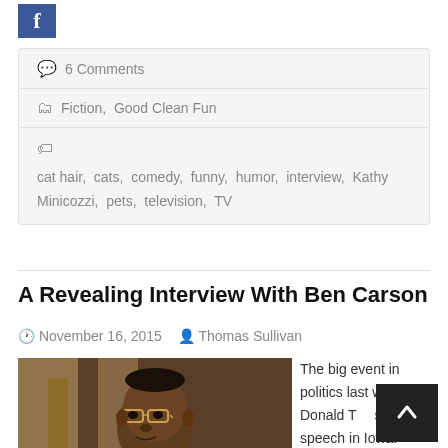[Figure (logo): Facebook share button (blue square with white f)]
💬 6 Comments
🗂 Fiction, Good Clean Fun
🏷 cat hair, cats, comedy, funny, humor, interview, Kathy Minicozzi, pets, television, TV
A Revealing Interview With Ben Carson
November 16, 2015  Thomas Sullivan
[Figure (photo): Photo of Ben Carson, a man wearing glasses and a dark suit, facing slightly to the left]
The big event in politics last week was Donald T[rump]'s heated speech in Iowa. Numerous